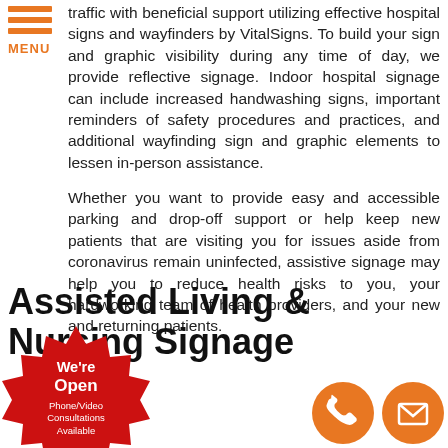[Figure (other): Orange hamburger menu icon with three horizontal lines and MENU text in orange]
traffic with beneficial support utilizing effective hospital signs and wayfinders by VitalSigns. To build your sign and graphic visibility during any time of day, we provide reflective signage. Indoor hospital signage can include increased handwashing signs, important reminders of safety procedures and practices, and additional wayfinding sign and graphic elements to lessen in-person assistance.

Whether you want to provide easy and accessible parking and drop-off support or help keep new patients that are visiting you for issues aside from coronavirus remain uninfected, assistive signage may help you to reduce health risks to you, your hardworking team of health providers, and your new and returning patients.
Assisted Living & Nursing Signage
[Figure (illustration): Red starburst badge with white text reading We're Open Phone/Video Consultations Available]
[Figure (illustration): Two orange circular icons at bottom right: a phone handset icon and an envelope/email icon]